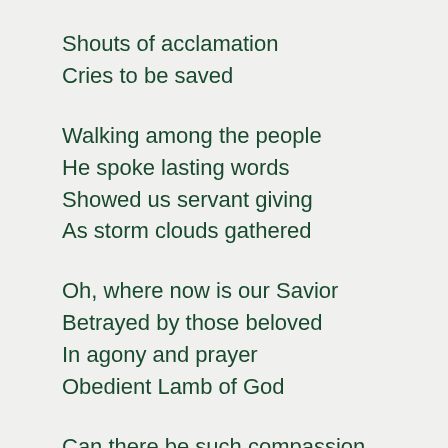Shouts of acclamation
Cries to be saved
Walking among the people
He spoke lasting words
Showed us servant giving
As storm clouds gathered
Oh, where now is our Savior
Betrayed by those beloved
In agony and prayer
Obedient Lamb of God
Can there be such compassion
In the midst of fear and doubt
Loss grief despair confusion